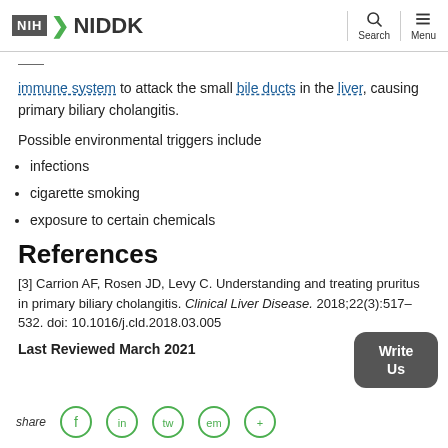NIH NIDDK
immune system to attack the small bile ducts in the liver, causing primary biliary cholangitis.
Possible environmental triggers include
infections
cigarette smoking
exposure to certain chemicals
References
[3] Carrion AF, Rosen JD, Levy C. Understanding and treating pruritus in primary biliary cholangitis. Clinical Liver Disease. 2018;22(3):517–532. doi: 10.1016/j.cld.2018.03.005
Last Reviewed March 2021
Share icons footer